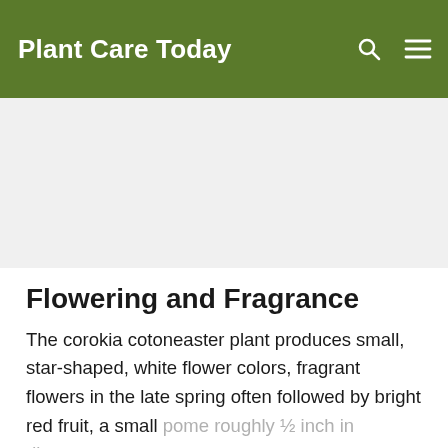Plant Care Today
[Figure (other): Advertisement / blank space area]
Flowering and Fragrance
The corokia cotoneaster plant produces small, star-shaped, white flower colors, fragrant flowers in the late spring often followed by bright red fruit, a small pome roughly ½ inch in diameter.